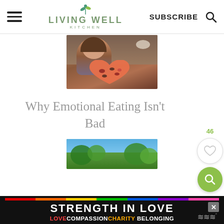Living Well Kitchen — SUBSCRIBE
[Figure (photo): Woman smiling and holding a heart-shaped pizza in a restaurant]
Why Emotional Eating Isn't Bad
[Figure (photo): Outdoor scene with trees and sky, partial view]
[Figure (infographic): Banner ad: STRENGTH IN LOVE — LOVE COMPASSION CHARITY BELONGING with rainbow bar and close button]